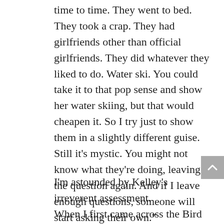time to time.  They went to bed.  They took a crap.  They had girlfriends other than official girlfriends.  They did whatever they liked to do.  Water ski.  You could take it to that pop sense and show her water skiing, but that would cheapen it.  So I try just to show them in a slightly different guise.  Still it’s mystic.  You might not know what they’re doing, leaving the question again.  And if I leave enough questions, someone will start asking their own.”
I’m astounded by Kelley’s irreverent assessment.
When I first came across the Bird Woman, I recognized at once the creature of my